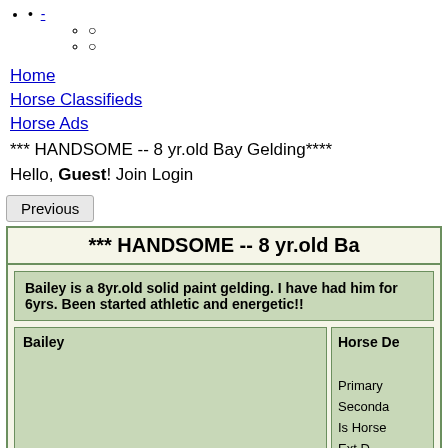-
○
○
Home
Horse Classifieds
Horse Ads
*** HANDSOME -- 8 yr.old Bay Gelding****
Hello, Guest! Join Login
Previous
*** HANDSOME -- 8 yr.old Ba
Bailey is a 8yr.old solid paint gelding. I have had him for 6yrs. Been started athletic and energetic!!
| Bailey | Horse De... |
| --- | --- |
|  | Primary
Seconda
Is Horse
Ext D... |